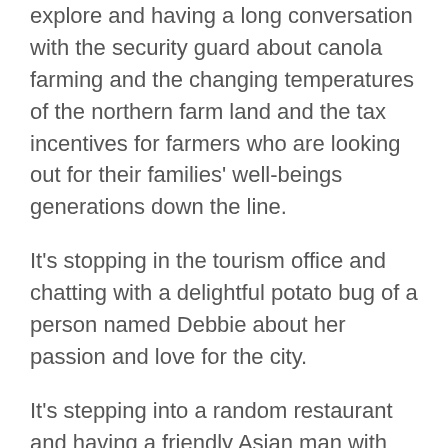explore and having a long conversation with the security guard about canola farming and the changing temperatures of the northern farm land and the tax incentives for farmers who are looking out for their families' well-beings generations down the line.
It's stopping in the tourism office and chatting with a delightful potato bug of a person named Debbie about her passion and love for the city.
It's stepping into a random restaurant and having a friendly Asian man with much too long fingernails serve you thick noodles in vegetable broth with freshly sliced mushrooms, eggplant, and cabbage, and talking about how good life is with your best friend.